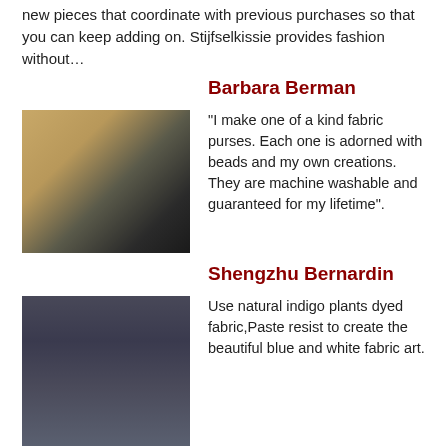new pieces that coordinate with previous purchases so that you can keep adding on. Stijfselkissie provides fashion without…
Barbara Berman
[Figure (photo): Photo of a decorative fabric purse with colorful pattern and black strap]
"I make one of a kind fabric purses. Each one is adorned with beads and my own creations. They are machine washable and guaranteed for my lifetime".
Shengzhu Bernardin
[Figure (photo): Photo of a person wearing a head covering standing near a large indigo-dyed fabric art piece]
Use natural indigo plants dyed fabric,Paste resist to create the beautiful blue and white fabric art.
[Figure (photo): Partial photo at bottom of page, appears to be a warm-toned item]
Marvin Bower